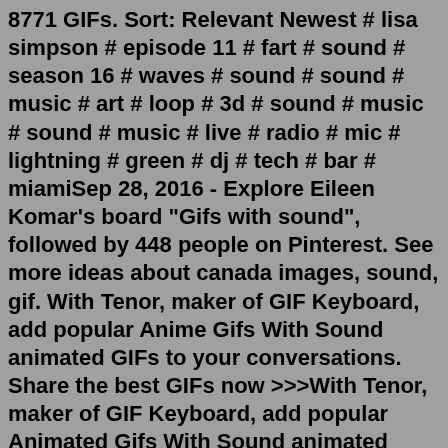8771 GIFs. Sort: Relevant Newest # lisa simpson # episode 11 # fart # sound # season 16 # waves # sound # sound # music # art # loop # 3d # sound # music # sound # music # live # radio # mic # lightning # green # dj # tech # bar # miamiSep 28, 2016 - Explore Eileen Komar's board "Gifs with sound", followed by 448 people on Pinterest. See more ideas about canada images, sound, gif. With Tenor, maker of GIF Keyboard, add popular Anime Gifs With Sound animated GIFs to your conversations. Share the best GIFs now >>>With Tenor, maker of GIF Keyboard, add popular Animated Gifs With Sound animated GIFs to your conversations. Share the best GIFs now >>> With Tenor, maker of GIF Keyboard, add popular Animated Gifs With Sound animated GIFs to your conversations. Share the best GIFs now >>>- Welcome to Mix Select and to my new VideoGifs With Sound #221 | Mix Select- Gifs With Sound Compilation .... have fun- New Videos every week----- Support ... Sep 07, 2012 · E.D.W. Lynch. September 7, 2012. YouTube. GIF Sound is a site that lets your...